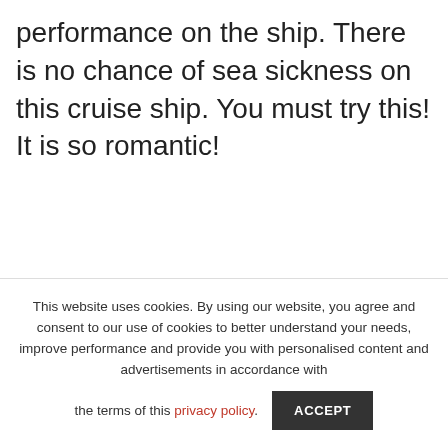performance on the ship. There is no chance of sea sickness on this cruise ship. You must try this! It is so romantic!
This website uses cookies. By using our website, you agree and consent to our use of cookies to better understand your needs, improve performance and provide you with personalised content and advertisements in accordance with the terms of this privacy policy.